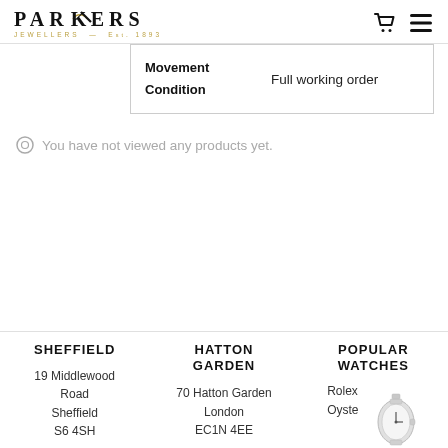[Figure (logo): Parkers Jewellers logo with stylized K and tagline 'JEWELLERS Est. 1893']
| Movement Condition | Full working order |
You have not viewed any products yet.
SHEFFIELD
19 Middlewood Road Sheffield S6 4SH
HATTON GARDEN
70 Hatton Garden London EC1N 4EE
POPULAR WATCHES
Rolex Oyste
[Figure (photo): Rolex Oyster watch image]